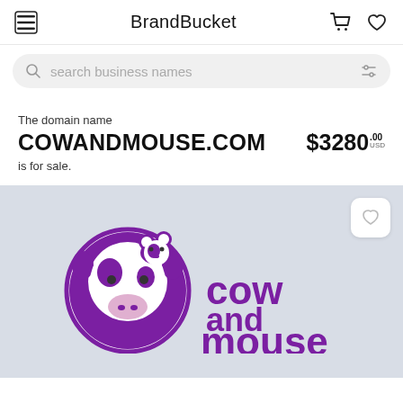BrandBucket
search business names
The domain name
COWANDMOUSE.COM
is for sale.
$3280.00 USD
[Figure (logo): Cow and Mouse brand logo: purple circular icon showing a cow and mouse silhouette on left, with text 'cow and mouse' in purple bold rounded font on the right]